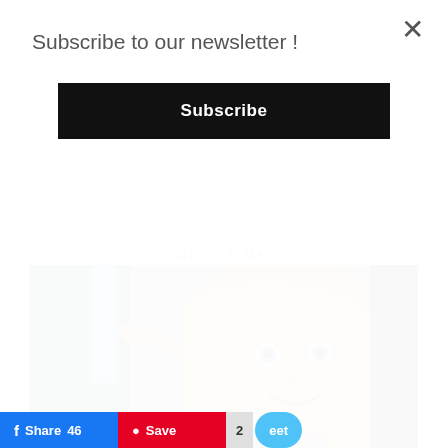Subscribe to our newsletter !
Subscribe
ABOUT ME
[Figure (photo): A smiling blonde woman with blue eyes holding a blue bottle near her face, selfie-style photo]
Share 46
Save
2
eet